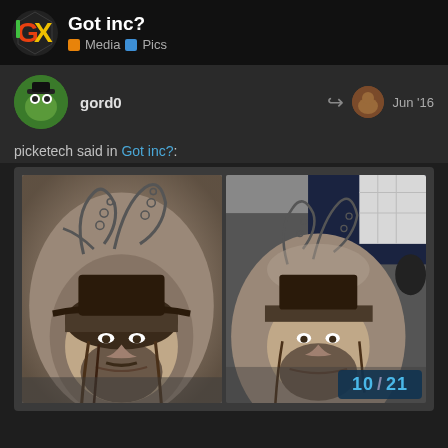Got inc? > Media > Pics
gord0   Jun '16
picketech said in Got inc?:
[Figure (photo): Two side-by-side photos of a tattoo on someone's leg/thigh showing a detailed black-and-grey Jack Sparrow (Pirates of the Caribbean) portrait with octopus tentacles on top. Left photo is a closer view, right photo shows the full leg context with the person wearing a dark shirt.]
10 / 21